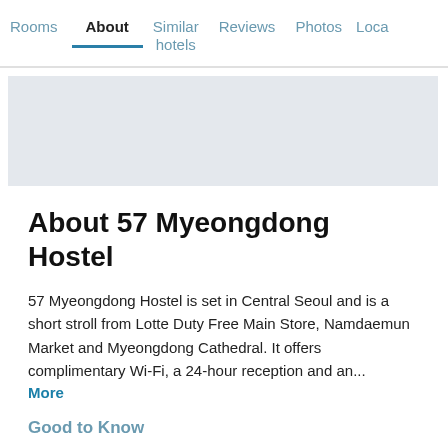Rooms | About | Similar hotels | Reviews | Photos | Loca...
[Figure (photo): Gray image placeholder for hotel photo]
About 57 Myeongdong Hostel
57 Myeongdong Hostel is set in Central Seoul and is a short stroll from Lotte Duty Free Main Store, Namdaemun Market and Myeongdong Cathedral. It offers complimentary Wi-Fi, a 24-hour reception and an...
More
Good to Know
| To Downtown | Rating |
| --- | --- |
| 0.7 mi | 8.2 |